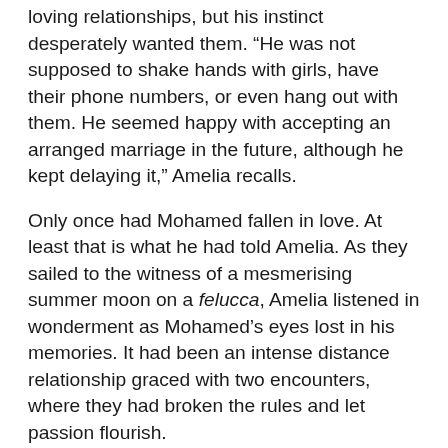loving relationships, but his instinct desperately wanted them. “He was not supposed to shake hands with girls, have their phone numbers, or even hang out with them. He seemed happy with accepting an arranged marriage in the future, although he kept delaying it,” Amelia recalls.
Only once had Mohamed fallen in love. At least that is what he had told Amelia. As they sailed to the witness of a mesmerising summer moon on a felucca, Amelia listened in wonderment as Mohamed’s eyes lost in his memories. It had been an intense distance relationship graced with two encounters, where they had broken the rules and let passion flourish.
“The way he told the story seemed so magical, so intense, so real,” she says.  But Mohamed had decided to put an end to it. His family would never accept a woman as liberal as she was, despite her being Muslim. He knew